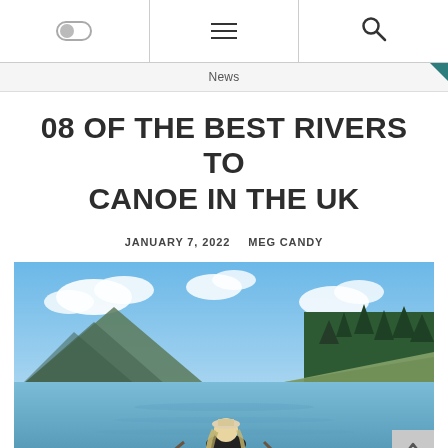Navigation bar with toggle, hamburger menu, and search icon
News
08 OF THE BEST RIVERS TO CANOE IN THE UK
JANUARY 7, 2022   MEG CANDY
[Figure (photo): Woman with long blonde hair sitting in a canoe on a calm mountain lake surrounded by pine forests and mountains under a blue sky with clouds]